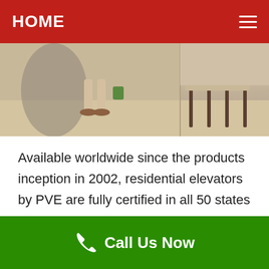HOME
[Figure (photo): Photo of a home interior scene showing person's legs near a residential elevator or doorway, and chairs in background]
Available worldwide since the products inception in 2002, residential elevators by PVE are fully certified in all 50 states within the USA with successful installations in over 90+ countries globally. Manufactured at their factory headquarters in Miami, Florida, USA, there are currently three models of their personal home elevators available for installation ranging from a
Call Us Now